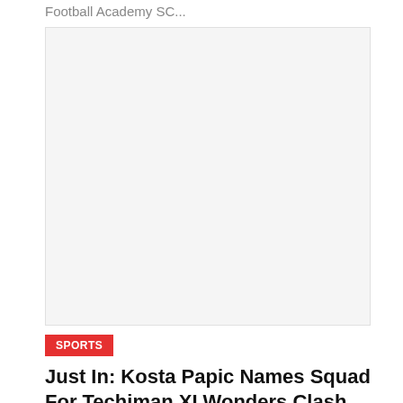Football Academy SC...
[Figure (photo): Large white/blank image placeholder area]
SPORTS
Just In: Kosta Papic Names Squad For Techiman XI Wonders Clash. Check Them Out